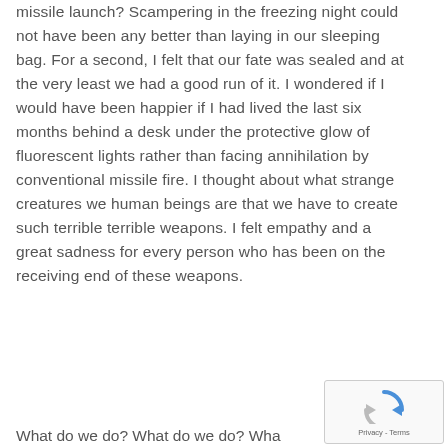missile launch? Scampering in the freezing night could not have been any better than laying in our sleeping bag. For a second, I felt that our fate was sealed and at the very least we had a good run of it. I wondered if I would have been happier if I had lived the last six months behind a desk under the protective glow of fluorescent lights rather than facing annihilation by conventional missile fire. I thought about what strange creatures we human beings are that we have to create such terrible terrible weapons. I felt empathy and a great sadness for every person who has been on the receiving end of these weapons.
What do we do? What do we do? Wha...
[Figure (logo): reCAPTCHA logo with Privacy and Terms links]